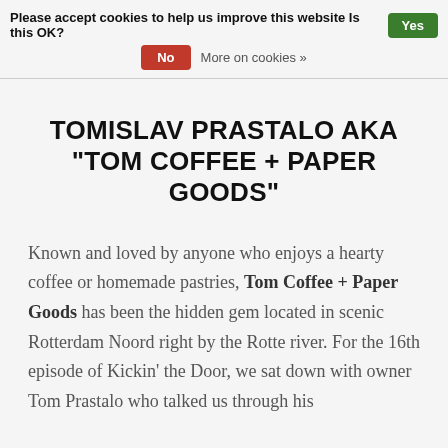Please accept cookies to help us improve this website Is this OK?  Yes  No  More on cookies »
TOMISLAV PRASTALO AKA "TOM COFFEE + PAPER GOODS"
Known and loved by anyone who enjoys a hearty coffee or homemade pastries, Tom Coffee + Paper Goods has been the hidden gem located in scenic Rotterdam Noord right by the Rotte river. For the 16th episode of Kickin' the Door, we sat down with owner Tom Prastalo who talked us through his